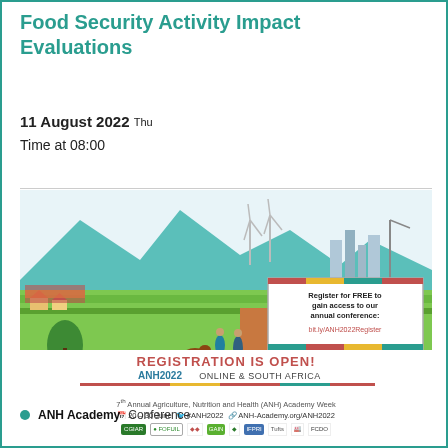Food Security Activity Impact Evaluations
11 August 2022 Thu
Time at 08:00
[Figure (illustration): ANH2022 conference registration banner showing an illustrated African rural/urban landscape with wind turbines and mountains. Text: 'Register for FREE to gain access to our annual conference: bit.ly/ANH2022Register'. Below: 'REGISTRATION IS OPEN! ANH2022 ONLINE & SOUTH AFRICA. 7th Annual Agriculture, Nutrition and Health (ANH) Academy Week. 20-30 June #ANH2022 ANH-Academy.org/ANH2022'. Logos of various sponsors shown at bottom.]
ANH Academy   Conference